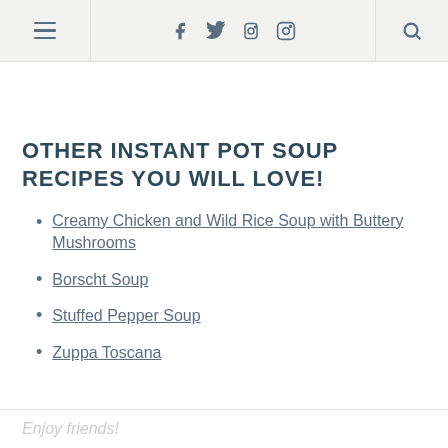≡  f  𝕥  𝕡  📷  🔍
OTHER INSTANT POT SOUP RECIPES YOU WILL LOVE!
Creamy Chicken and Wild Rice Soup with Buttery Mushrooms
Borscht Soup
Stuffed Pepper Soup
Zuppa Toscana
Enjoy friends!